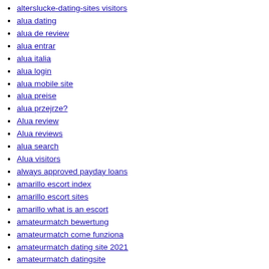alterslucke-dating-sites visitors
alua dating
alua de review
alua entrar
alua italia
alua login
alua mobile site
alua preise
alua przejrze?
Alua review
Alua reviews
alua search
Alua visitors
always approved payday loans
amarillo escort index
amarillo escort sites
amarillo what is an escort
amateurmatch bewertung
amateurmatch come funziona
amateurmatch dating site 2021
amateurmatch datingsite
amateurmatch gratuit
amateurmatch login
amateurmatch review